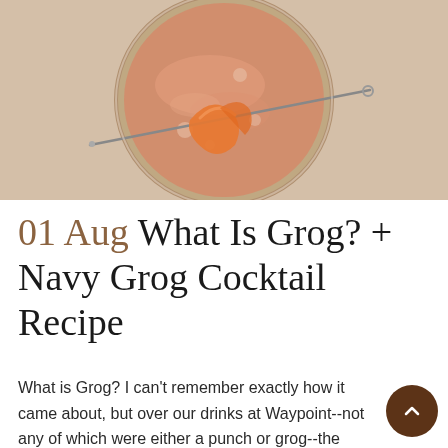[Figure (photo): Top-down view of a cocktail glass filled with an orange-pink drink, garnished with a twisted orange peel on a cocktail pick/skewer, on a light beige surface.]
01 Aug What Is Grog? + Navy Grog Cocktail Recipe
What is Grog? I can't remember exactly how it came about, but over our drinks at Waypoint--not any of which were either a punch or grog--the group of us ended up pondering what exactly grog is, and how it